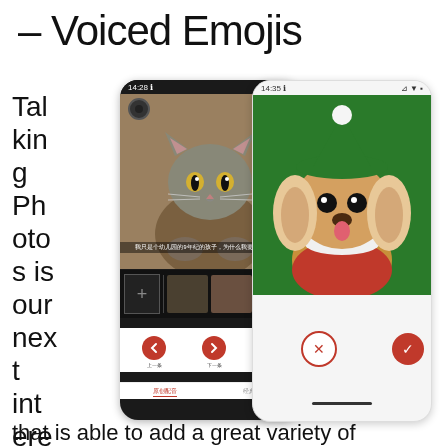– Voiced Emojis
Talking Photos is our next interesting app that is able to add a great variety of
[Figure (screenshot): Two smartphone screenshots of the Talking Photos app. Left phone shows a cat photo with Chinese caption text, thumbnail strip, navigation controls (上一条, 下一条, 专辑列表), and tab bar. Right phone shows a dog dressed as an elf with a red hat on a green background, with X and checkmark buttons at the bottom.]